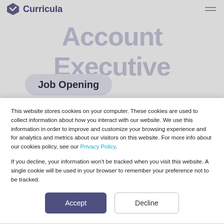Curricula
Account Executive
Job Opening
Curricula is growing fast, and we are
This website stores cookies on your computer. These cookies are used to collect information about how you interact with our website. We use this information in order to improve and customize your browsing experience and for analytics and metrics about our visitors on this website. For more info about our cookies policy, see our Privacy Policy.
If you decline, your information won’t be tracked when you visit this website. A single cookie will be used in your browser to remember your preference not to be tracked.
Accept
Decline